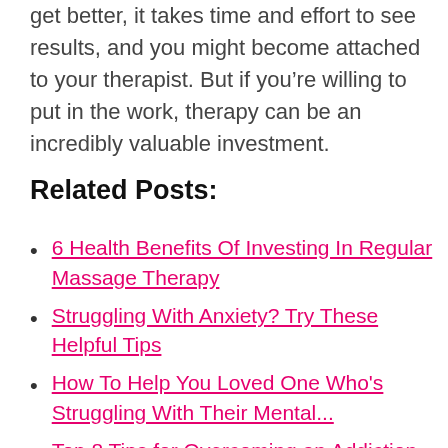get better, it takes time and effort to see results, and you might become attached to your therapist. But if you're willing to put in the work, therapy can be an incredibly valuable investment.
Related Posts:
6 Health Benefits Of Investing In Regular Massage Therapy
Struggling With Anxiety? Try These Helpful Tips
How To Help You Loved One Who's Struggling With Their Mental...
Top 8 Tips for Overcoming an Addiction
4 Tips to Help You Take Care of Your